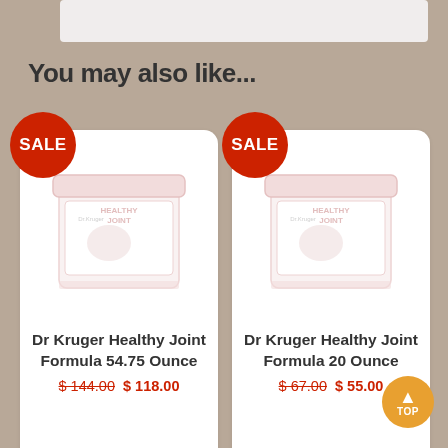You may also like...
[Figure (photo): Product image of Dr Kruger Healthy Joint Formula 54.75 Ounce jar]
Dr Kruger Healthy Joint Formula 54.75 Ounce
$144.00 $118.00
[Figure (photo): Product image of Dr Kruger Healthy Joint Formula 20 Ounce jar]
Dr Kruger Healthy Joint Formula 20 Ounce
$67.00 $55.00